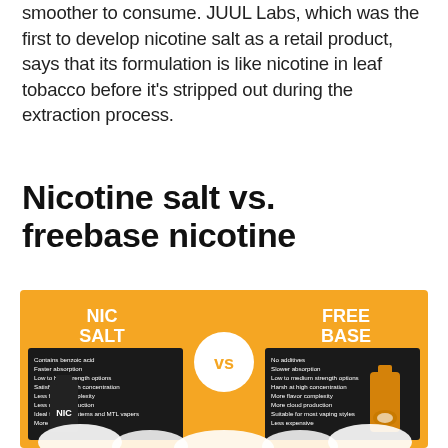smoother to consume. JUUL Labs, which was the first to develop nicotine salt as a retail product, says that its formulation is like nicotine in leaf tobacco before it's stripped out during the extraction process.
Nicotine salt vs. freebase nicotine
[Figure (infographic): Orange background infographic comparing NIC SALT vs FREE BASE nicotine. Left side shows a nic salt bottle with black bullet-point panel listing features. Right side shows a freebase bottle with black bullet-point panel. Center has a white circle with 'vs' in orange. Cloud puffs at bottom.]